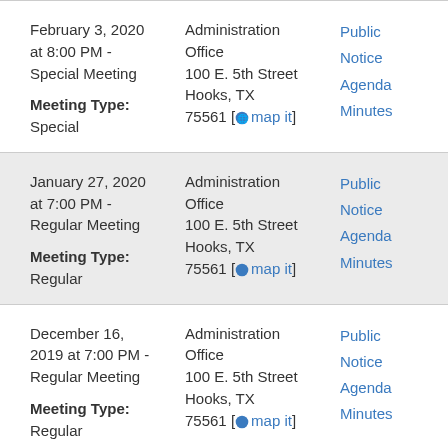February 3, 2020 at 8:00 PM - Special Meeting
Meeting Type: Special
Location: Administration Office, 100 E. 5th Street, Hooks, TX 75561
Links: Public Notice, Agenda, Minutes
January 27, 2020 at 7:00 PM - Regular Meeting
Meeting Type: Regular
Location: Administration Office, 100 E. 5th Street, Hooks, TX 75561
Links: Public Notice, Agenda, Minutes
December 16, 2019 at 7:00 PM - Regular Meeting
Meeting Type: Regular
Location: Administration Office, 100 E. 5th Street, Hooks, TX 75561
Links: Public Notice, Agenda, Minutes